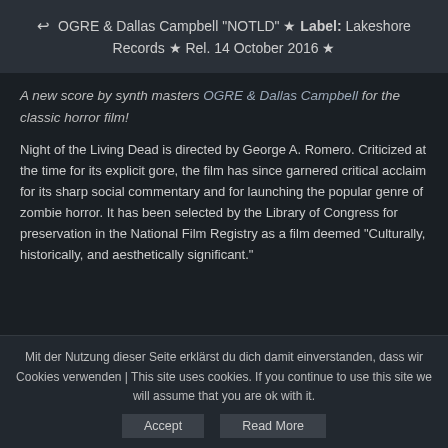↩ OGRE & Dallas Campbell "NOTLD" ★ Label: Lakeshore Records ★ Rel. 14 October 2016 ★
A new score by synth masters OGRE & Dallas Campbell for the classic horror film!
Night of the Living Dead is directed by George A. Romero. Criticized at the time for its explicit gore, the film has since garnered critical acclaim for its sharp social commentary and for launching the popular genre of zombie horror. It has been selected by the Library of Congress for preservation in the National Film Registry as a film deemed "Culturally, historically, and aesthetically significant."
Mit der Nutzung dieser Seite erklärst du dich damit einverstanden, dass wir Cookies verwenden | This site uses cookies. If you continue to use this site we will assume that you are ok with it.